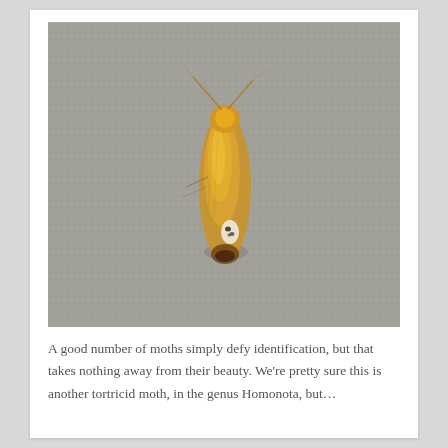[Figure (photo): Close-up photograph of a golden-brown moth resting on a grey fabric/textile surface. The moth has folded wings showing a golden-amber color with a small dark spotted marking near its lower body, and visible antennae.]
A good number of moths simply defy identification, but that takes nothing away from their beauty. We're pretty sure this is another tortricid moth, in the genus Homonota, but...